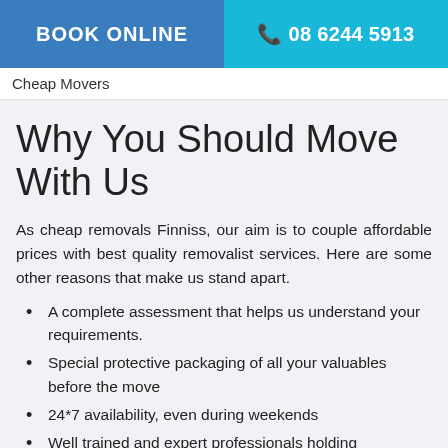BOOK ONLINE | 08 6244 5913
Cheap Movers
Why You Should Move With Us
As cheap removals Finniss, our aim is to couple affordable prices with best quality removalist services. Here are some other reasons that make us stand apart.
A complete assessment that helps us understand your requirements.
Special protective packaging of all your valuables before the move
24*7 availability, even during weekends
Well trained and expert professionals holding